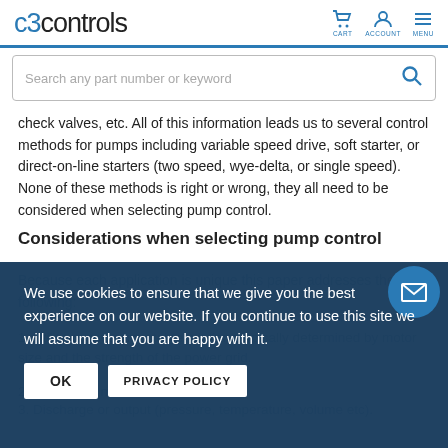c3controls | CART ACCOUNT MENU
Search any part number or keyword
check valves, etc. All of this information leads us to several control methods for pumps including variable speed drive, soft starter, or direct-on-line starters (two speed, wye-delta, or single speed). None of these methods is right or wrong, they all need to be considered when selecting pump control.
Considerations when selecting pump control
Because each application is unique this paper addresses following:
1. Utility or governmental regulations typically determined by motor size and the strength of the power grid.
2. Size of the motor
3. Discharge or output (pressure, temperature, volume etc).
We use cookies to ensure that we give you the best experience on our website. If you continue to use this site we will assume that you are happy with it.